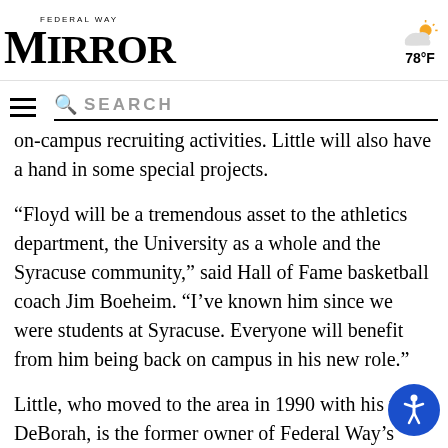Federal Way Mirror | 78°F | Search
on-campus recruiting activities. Little will also have a hand in some special projects.
“Floyd will be a tremendous asset to the athletics department, the University as a whole and the Syracuse community,” said Hall of Fame basketball coach Jim Boeheim. “I’ve known him since we were students at Syracuse. Everyone will benefit from him being back on campus in his new role.”
Little, who moved to the area in 1990 with his wife, DeBorah, is the former owner of Federal Way’s Pacific Coast Ford before it went out of business in 2009. The city honored him last year, proclaiming April 6, 2019, “Floyd Little Day,” after he was elected